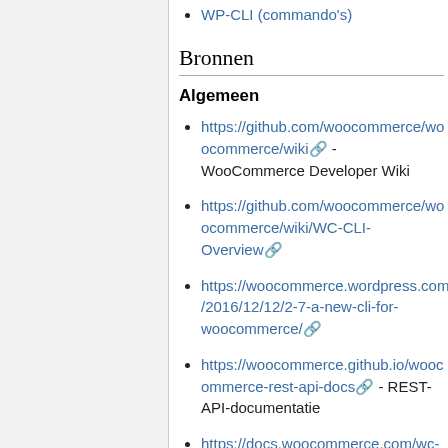WP-CLI (commando's)
Bronnen
Algemeen
https://github.com/woocommerce/woocommerce/wiki - WooCommerce Developer Wiki
https://github.com/woocommerce/woocommerce/wiki/WC-CLI-Overview
https://woocommerce.wordpress.com/2016/12/12/2-7-a-new-cli-for-woocommerce/
https://woocommerce.github.io/woocommerce-rest-api-docs - REST-API-documentatie
https://docs.woocommerce.com/wc-apidocs/index.html - WC-API-documentatie (dus de 'gewone' WC-API)